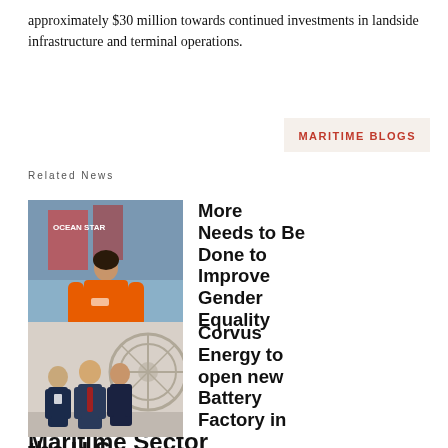approximately $30 million towards continued investments in landside infrastructure and terminal operations.
MARITIME BLOGS
Related News
[Figure (photo): Woman in orange boiler suit standing in front of industrial equipment with Ocean Star text visible]
More Needs to Be Done to Improve Gender Equality in the Maritime Sector
[Figure (photo): Three men in suits standing together in front of a decorative wheel or seal]
Corvus Energy to open new Battery Factory in the U.S.